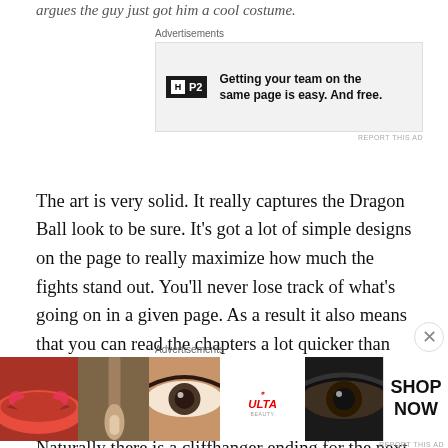argues the guy just got him a cool costume.
[Figure (screenshot): Advertisement banner for P2 - 'Getting your team on the same page is easy. And free.' with P2 logo on grey background]
The art is very solid. It really captures the Dragon Ball look to be sure. It's got a lot of simple designs on the page to really maximize how much the fights stand out. You'll never lose track of what's going on in a given page. As a result it also means that you can read the chapters a lot quicker than most too. The 12 chapters really feel like they go by in an instant.
Naturally there is a cliffhanger ending for the next arc here so you won't want to miss that. Lets just say a certain
[Figure (screenshot): Advertisement banner for ULTA beauty - showing makeup/cosmetics imagery with 'SHOP NOW' text]